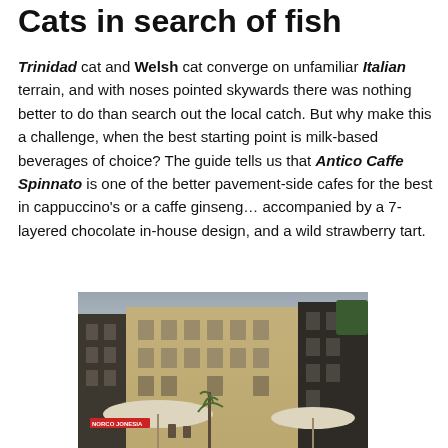Cats in search of fish
Trinidad cat and Welsh cat converge on unfamiliar Italian terrain, and with noses pointed skywards there was nothing better to do than search out the local catch. But why make this a challenge, when the best starting point is milk-based beverages of choice? The guide tells us that Antico Caffe Spinnato is one of the better pavement-side cafes for the best in cappuccino's or a caffe ginseng… accompanied by a 7-layered chocolate in-house design, and a wild strawberry tart.
[Figure (photo): Street-level view of an Italian building facade with outdoor cafe umbrellas and a dark building on the right side]